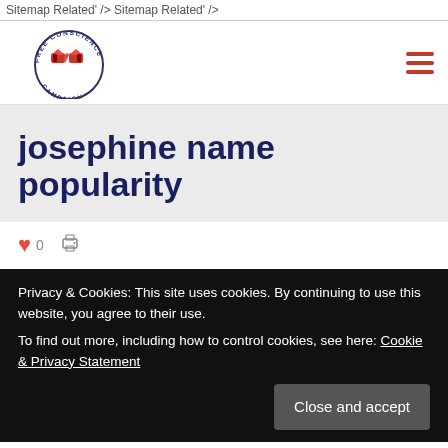Sitemap Related' /> Sitemap Related' />
[Figure (logo): Free Conscience Campaign circular logo with two red heart-shaped book icons in the center and text 'FREE CONSCIENCE CAMPAIGN' around the circle]
josephine name popularity
❤ 0  🖨
Privacy & Cookies: This site uses cookies. By continuing to use this website, you agree to their use.
To find out more, including how to control cookies, see here: Cookie & Privacy Statement
[Close and accept]
beautiful name. These girls names are ordered by their